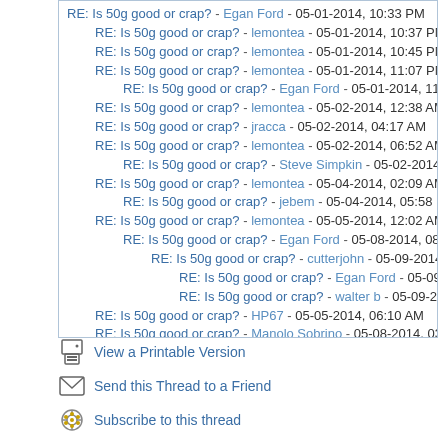RE: Is 50g good or crap? - Egan Ford - 05-01-2014, 10:33 PM
RE: Is 50g good or crap? - lemontea - 05-01-2014, 10:37 PM
RE: Is 50g good or crap? - lemontea - 05-01-2014, 10:45 PM
RE: Is 50g good or crap? - lemontea - 05-01-2014, 11:07 PM
RE: Is 50g good or crap? - Egan Ford - 05-01-2014, 11:25 PM
RE: Is 50g good or crap? - lemontea - 05-02-2014, 12:38 AM
RE: Is 50g good or crap? - jracca - 05-02-2014, 04:17 AM
RE: Is 50g good or crap? - lemontea - 05-02-2014, 06:52 AM
RE: Is 50g good or crap? - Steve Simpkin - 05-02-2014, 09:11 AM
RE: Is 50g good or crap? - lemontea - 05-04-2014, 02:09 AM
RE: Is 50g good or crap? - jebem - 05-04-2014, 05:58 PM
RE: Is 50g good or crap? - lemontea - 05-05-2014, 12:02 AM
RE: Is 50g good or crap? - Egan Ford - 05-08-2014, 08:39 PM
RE: Is 50g good or crap? - cutterjohn - 05-09-2014, 04:59 PM
RE: Is 50g good or crap? - Egan Ford - 05-09-2014, 05:23 PM
RE: Is 50g good or crap? - walter b - 05-09-2014, 05:24 PM
RE: Is 50g good or crap? - HP67 - 05-05-2014, 06:10 AM
RE: Is 50g good or crap? - Manolo Sobrino - 05-08-2014, 03:52 PM
RE: Is 50g good or crap? - lemontea - 05-10-2014 02:05 AM
RE: Is 50g good or crap? - neonjohn - 02-28-2018, 10:29 PM
View a Printable Version
Send this Thread to a Friend
Subscribe to this thread